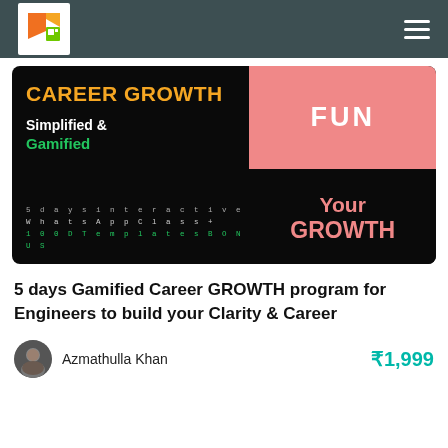Career Growth Learning Platform — Navigation header with logo and hamburger menu
[Figure (infographic): Career Growth banner: black background with orange 'CAREER GROWTH' title, white and green 'Simplified & Gamified' text, pink 'FUN' box on right, pink 'Your GROWTH' text, and green monospace text '5 days interactive Whats App Class+ 100D Templates BONUS' at bottom]
5 days Gamified Career GROWTH program for Engineers to build your Clarity & Career
Azmathulla Khan — ₹1,999